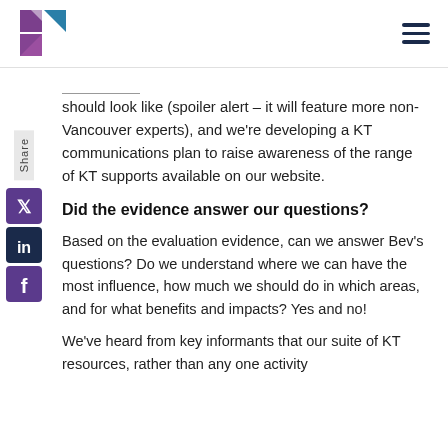[Logo] [Hamburger menu]
should look like (spoiler alert – it will feature more non-Vancouver experts), and we're developing a KT communications plan to raise awareness of the range of KT supports available on our website.
Did the evidence answer our questions?
Based on the evaluation evidence, can we answer Bev's questions? Do we understand where we can have the most influence, how much we should do in which areas, and for what benefits and impacts? Yes and no!
We've heard from key informants that our suite of KT resources, rather than any one activity